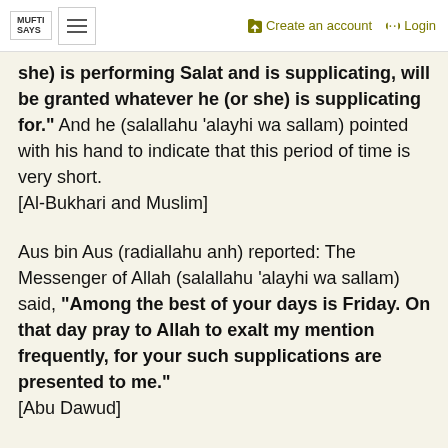MUFTI SAYS | Create an account | Login
she) is performing Salat and is supplicating, will be granted whatever he (or she) is supplicating for." And he (salallahu 'alayhi wa sallam) pointed with his hand to indicate that this period of time is very short. [Al-Bukhari and Muslim]
Aus bin Aus (radiallahu anh) reported: The Messenger of Allah (salallahu 'alayhi wa sallam) said, "Among the best of your days is Friday. On that day pray to Allah to exalt my mention frequently, for your such supplications are presented to me." [Abu Dawud]